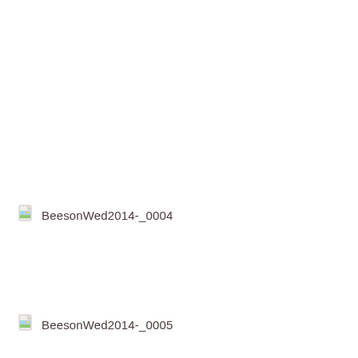[Figure (other): File icon placeholder for image BeesonWed2014-_0004 with broken image icon (small document icon with green/blue thumbnail)]
BeesonWed2014-_0004
[Figure (other): File icon placeholder for image BeesonWed2014-_0005 with broken image icon (small document icon with green/blue thumbnail)]
BeesonWed2014-_0005